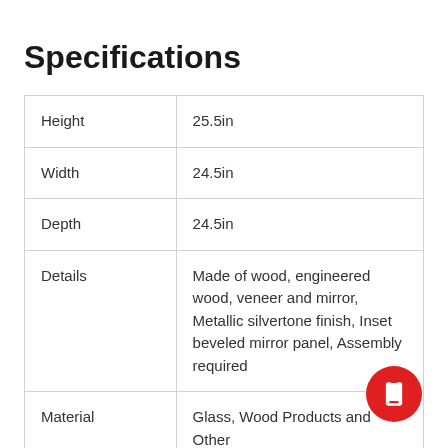Specifications
| Height | 25.5in |
| Width | 24.5in |
| Depth | 24.5in |
| Details | Made of wood, engineered wood, veneer and mirror, Metallic silvertone finish, Inset beveled mirror panel, Assembly required |
| Material | Glass, Wood Products and Other |
| Lifestyle | Contemporary |